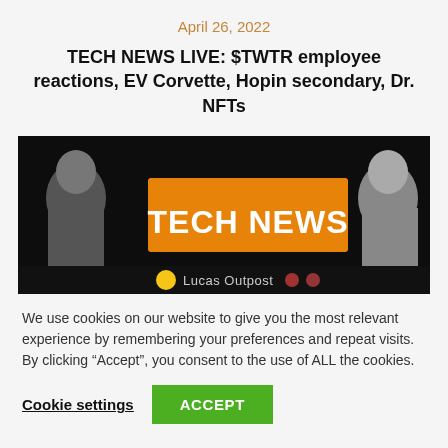April 26, 2022
TECH NEWS LIVE: $TWTR employee reactions, EV Corvette, Hopin secondary, Dr. NFTs
[Figure (photo): Tech News Live thumbnail image with two people in black and white on either side of a bold orange banner reading 'TECH NEWS' and a logo 'Lucas Outpost' at the bottom]
We use cookies on our website to give you the most relevant experience by remembering your preferences and repeat visits. By clicking “Accept”, you consent to the use of ALL the cookies.
Cookie settings   ACCEPT